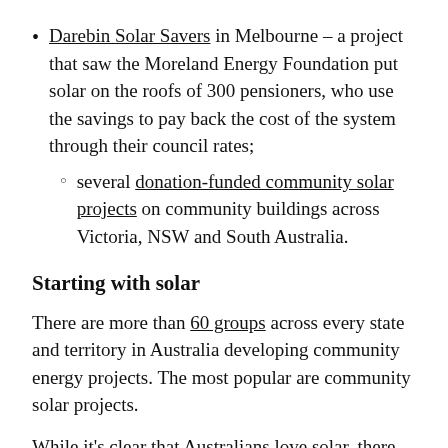Darebin Solar Savers in Melbourne – a project that saw the Moreland Energy Foundation put solar on the roofs of 300 pensioners, who use the savings to pay back the cost of the system through their council rates;
several donation-funded community solar projects on community buildings across Victoria, NSW and South Australia.
Starting with solar
There are more than 60 groups across every state and territory in Australia developing community energy projects. The most popular are community solar projects.
While it's clear that Australians love solar, there are more structural reasons why communities are